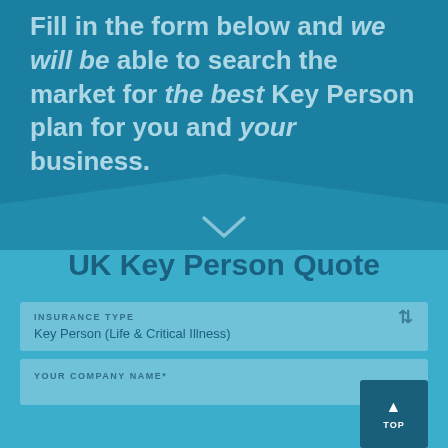Fill in the form below and we will be able to search the market for the best Key Person plan for you and your business.
[Figure (illustration): Teal wave/chevron shape separator between the dark blue header section and the lighter teal body section, with a downward-pointing chevron arrow icon in the center.]
UK Key Person Quote
INSURANCE TYPE
Key Person (Life & Critical Illness)
YOUR COMPANY NAME*